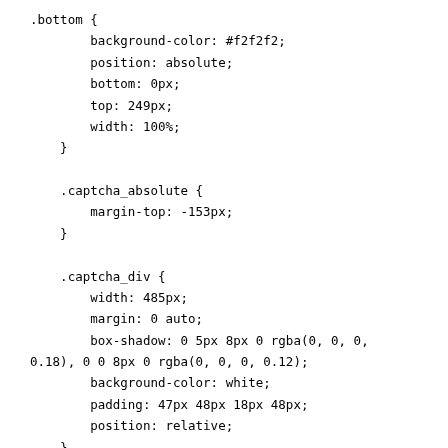.bottom {
    background-color: #f2f2f2;
    position: absolute;
    bottom: 0px;
    top: 249px;
    width: 100%;
}

.captcha_absolute {
    margin-top: -153px;
}

.captcha_div {
    width: 485px;
    margin: 0 auto;
    box-shadow: 0 5px 8px 0 rgba(0, 0, 0, 0.18), 0 0 8px 0 rgba(0, 0, 0, 0.12);
    background-color: white;
    padding: 47px 48px 18px 48px;
    position: relative;
}

.cap_head {
    border-bottom: 1px solid #d8d8d8;
    padding-bottom: 17px;
    margin: 0 10px 20px 10px;
}

.logo_shield {
    display: inline-block;